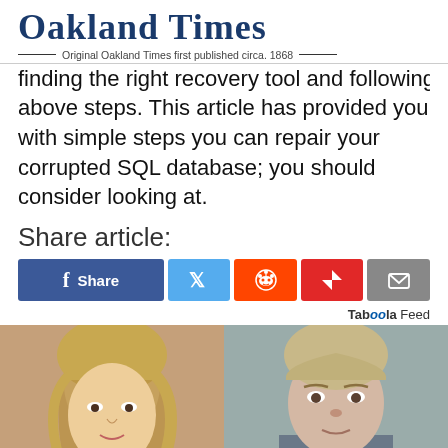Oakland Times — Original Oakland Times first published circa. 1868
finding the right recovery tool and following the above steps. This article has provided you with simple steps you can repair your corrupted SQL database; you should consider looking at.
Share article:
[Figure (infographic): Social share buttons: Facebook Share, Twitter, Reddit, Flipboard, Email]
[Figure (photo): Two side-by-side photos of women, Taboola Feed content]